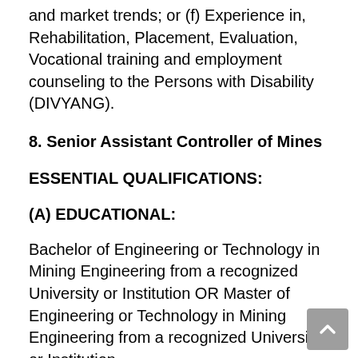and market trends; or (f) Experience in, Rehabilitation, Placement, Evaluation, Vocational training and employment counseling to the Persons with Disability (DIVYANG).
8. Senior Assistant Controller of Mines
ESSENTIAL QUALIFICATIONS:
(A) EDUCATIONAL:
Bachelor of Engineering or Technology in Mining Engineering from a recognized University or Institution OR Master of Engineering or Technology in Mining Engineering from a recognized University or Institution.